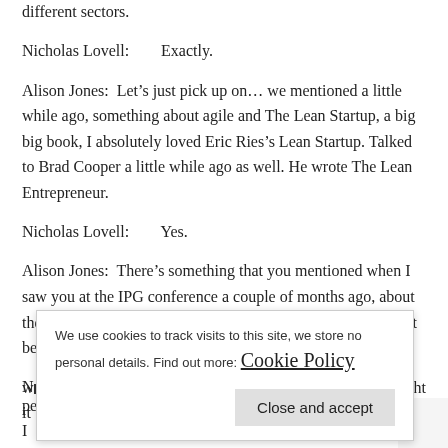different sectors.
Nicholas Lovell:        Exactly.
Alison Jones:  Let’s just pick up on… we mentioned a little while ago, something about agile and The Lean Startup, a big big book, I absolutely loved Eric Ries’s Lean Startup. Talked to Brad Cooper a little while ago as well. He wrote The Lean Entrepreneur.
Nicholas Lovell:        Yes.
Alison Jones:  There’s something that you mentioned when I saw you at the IPG conference a couple of months ago, about the F2P toolkit. I would love you just to talk a little about that because I thought it w… s to…
N…
people expect me to be thinking lean and thinking experimentally, I
We use cookies to track visits to this site, we store no personal details. Find out more: Cookie Policy
Close and accept